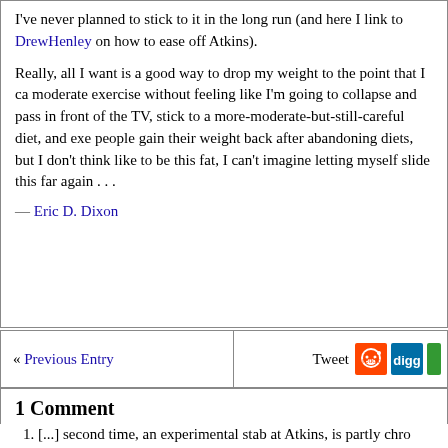I've never planned to stick to it in the long run (and here I link to DrewHenley on how to ease off Atkins).
Really, all I want is a good way to drop my weight to the point that I can moderate exercise without feeling like I'm going to collapse and pass in front of the TV, stick to a more-moderate-but-still-careful diet, and exercise. people gain their weight back after abandoning diets, but I don't think like to be this fat, I can't imagine letting myself slide this far again . . .
— Eric D. Dixon
« Previous Entry
Tweet
1 Comment
[...] second time, an experimental stab at Atkins, is partly chro 2004, a series continued in both concept and number by this v
Pingback by The Shrubbloggers » Incompetent Fitness Blog It 10:43 pm
RSS feed for comments on this post.
The URI to TrackBack this entry is: http://www.shrubbloggers.com/20 blog-item/trackback/
Leave a comment
Line and paragraph breaks automatic, e-mail address never displaye